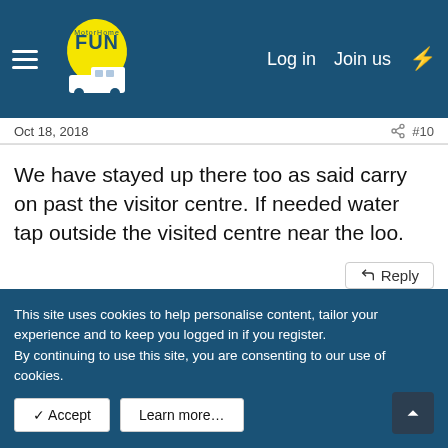MotorHome Fun — Log in  Join us
Oct 18, 2018  #10
We have stayed up there too as said carry on past the visitor centre. If needed water tap outside the visited centre near the loo.
↩ Reply
👍 Northernraider
Wildbill
This site uses cookies to help personalise content, tailor your experience and to keep you logged in if you register.
By continuing to use this site, you are consenting to our use of cookies.
✓ Accept    Learn more…